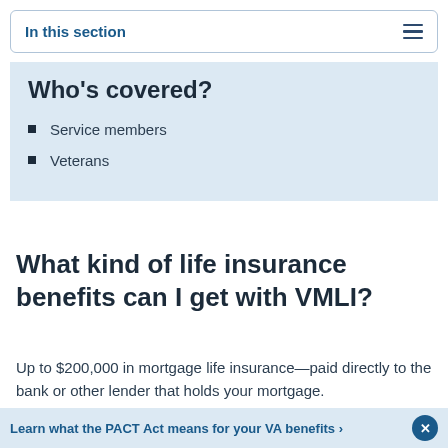In this section
Who's covered?
Service members
Veterans
What kind of life insurance benefits can I get with VMLI?
Up to $200,000 in mortgage life insurance—paid directly to the bank or other lender that holds your mortgage.
Learn what the PACT Act means for your VA benefits >